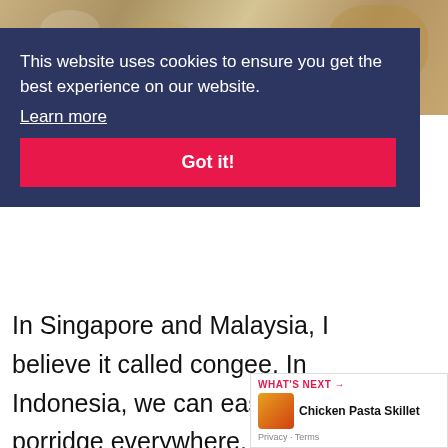[Figure (photo): Food photo background at top of page showing what appears to be rice porridge or congee with toppings]
This website uses cookies to ensure you get the best experience on our website. Learn more
Got it!
In Singapore and Malaysia, I believe it called congee. In Indonesia, we can easily find rice porridge everywhere, from the people who sell it going around the town by bicycle, motorcycle, simple cart, to restaurant. Each city has a different name and a little bit of different taste. This da...
46
WHAT'S NEXT → Chicken Pasta Skillet
Privacy · Terms